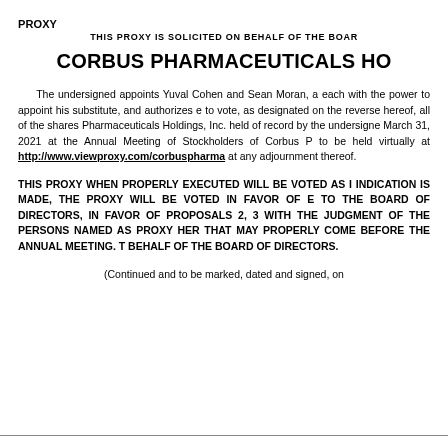PROXY
THIS PROXY IS SOLICITED ON BEHALF OF THE BOARD
CORBUS PHARMACEUTICALS HO
The undersigned appoints Yuval Cohen and Sean Moran, each with the power to appoint his substitute, and authorizes each to vote, as designated on the reverse hereof, all of the shares of Corbus Pharmaceuticals Holdings, Inc. held of record by the undersigned on March 31, 2021 at the Annual Meeting of Stockholders of Corbus Pharmaceuticals to be held virtually at http://www.viewproxy.com/corbuspharma and at any adjournment thereof.
THIS PROXY WHEN PROPERLY EXECUTED WILL BE VOTED AS DIRECTED. IF NO INDICATION IS MADE, THE PROXY WILL BE VOTED IN FAVOR OF EACH NOMINEE TO THE BOARD OF DIRECTORS, IN FAVOR OF PROPOSALS 2, 3 AND IN ACCORDANCE WITH THE JUDGMENT OF THE PERSONS NAMED AS PROXY HEREIN ON ANY MATTER THAT MAY PROPERLY COME BEFORE THE ANNUAL MEETING. THIS PROXY IS SOLICITED ON BEHALF OF THE BOARD OF DIRECTORS.
(Continued and to be marked, dated and signed, on